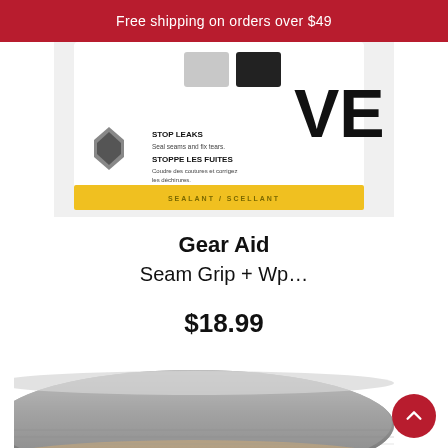Free shipping on orders over $49
[Figure (photo): Product packaging for Gear Aid seam grip sealant, showing stop leaks instructions in English and French, with yellow sealant label]
Gear Aid
Seam Grip + Wp…
$18.99
[Figure (photo): A roll of gray fabric repair tape, shown from the side revealing multiple wound layers]